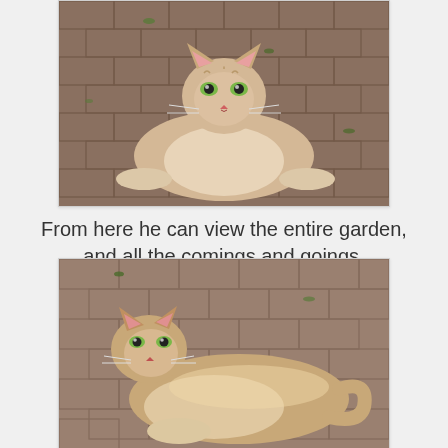[Figure (photo): A cream/orange tabby cat lying on a brick patio surface, looking directly at the camera. The cat is in a sphinx-like pose with front paws extended forward.]
From here he can view the entire garden, and all the comings and goings.
[Figure (photo): The same cream/orange tabby cat lying on a brick patio surface, this time viewed from a slightly different angle showing more of its side and tail. The cat appears relaxed on the cobblestone/brick pavers with green moss between bricks.]